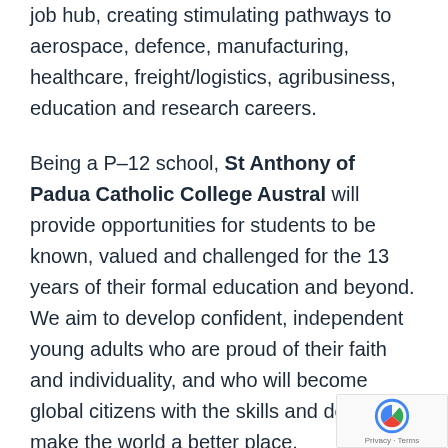job hub, creating stimulating pathways to aerospace, defence, manufacturing, healthcare, freight/logistics, agribusiness, education and research careers.
Being a P–12 school, St Anthony of Padua Catholic College Austral will provide opportunities for students to be known, valued and challenged for the 13 years of their formal education and beyond. We aim to develop confident, independent young adults who are proud of their faith and individuality, and who will become global citizens with the skills and desire to make the world a better place.